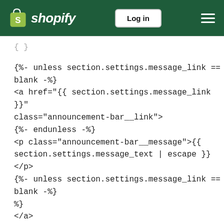shopify — Log in
{ }
{%- unless section.settings.message_link == blank -%}
<a href="{{ section.settings.message_link }}"
class="announcement-bar__link">
{%- endunless -%}
<p class="announcement-bar__message">{{ section.settings.message_text | escape }}</p>
{%- unless section.settings.message_link == blank -%}
</a>
{%- endunless -%}
</div>
{% endif %}
{% endif %}